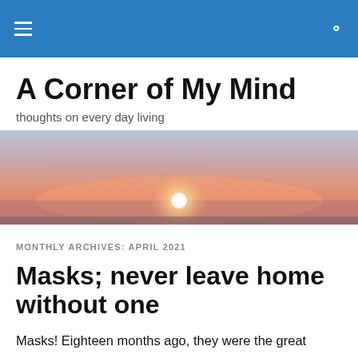A Corner of My Mind — navigation header with hamburger menu and search icon
A Corner of My Mind
thoughts on every day living
[Figure (photo): Wide panoramic photograph of a sunset over a flat horizon, with a glowing pink and orange sky and a bright white sun just above the horizon line.]
MONTHLY ARCHIVES: APRIL 2021
Masks; never leave home without one
Masks! Eighteen months ago, they were the great